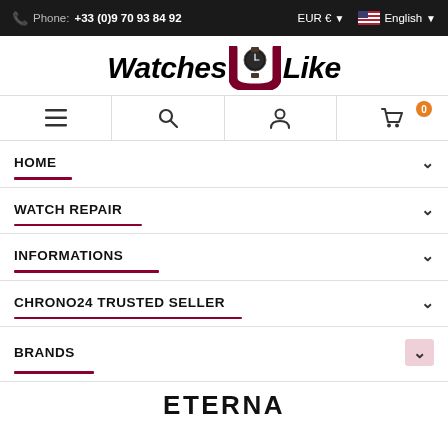Phone: +33 (0)9 70 93 84 92 | EUR € ▾ | 🇺🇸 English ▾
[Figure (logo): Watches U Like logo with a watch face as the U letter]
[Figure (infographic): Navigation icons: hamburger menu, search, account, shopping cart with badge 0]
HOME
WATCH REPAIR
INFORMATIONS
CHRONO24 TRUSTED SELLER
BRANDS
ETERNA